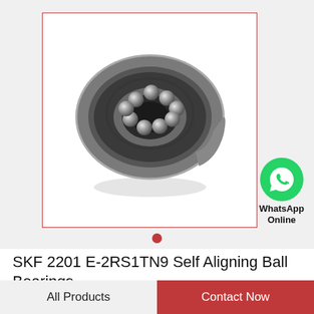[Figure (photo): Self-aligning ball bearing (SKF 2201 E-2RS1TN9) shown at an angle, displaying double row of steel balls within outer and inner rings, metallic gray finish, on white background inside a red-bordered box. A WhatsApp logo (green phone icon) with text 'WhatsApp Online' appears to the right.]
SKF 2201 E-2RS1TN9 Self Aligning Ball Bearings
All Products
Contact Now